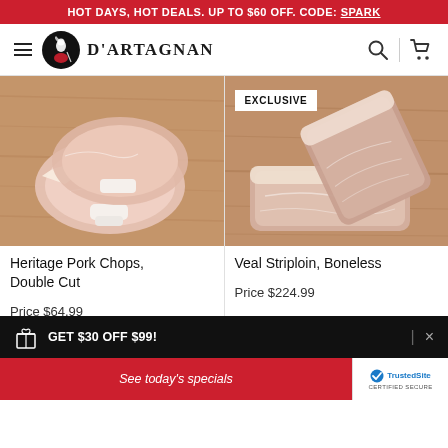HOT DAYS, HOT DEALS. UP TO $60 OFF. CODE: SPARK
[Figure (logo): D'Artagnan brand navigation bar with hamburger menu, circular logo, brand name, search icon and cart icon]
[Figure (photo): Heritage Pork Chops Double Cut - raw pork chops on wooden cutting board]
[Figure (photo): Veal Striploin Boneless with EXCLUSIVE badge - raw veal on wooden cutting board]
Heritage Pork Chops, Double Cut
Veal Striploin, Boneless
Price $64.99
Price $224.99
GET $30 OFF $99!
See today's specials